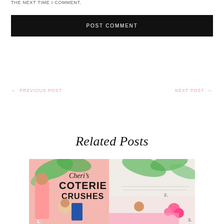THE NEXT TIME I COMMENT.
POST COMMENT
← PREVIOUS POST
NEXT POST →
Related Posts
[Figure (photo): Cheri's Coterie Crushes blog post thumbnail image showing women in summer clothing and tropical plants with text 'Cheri's COTERIE CRUSHES' and numbered items 1, 2, 3.]